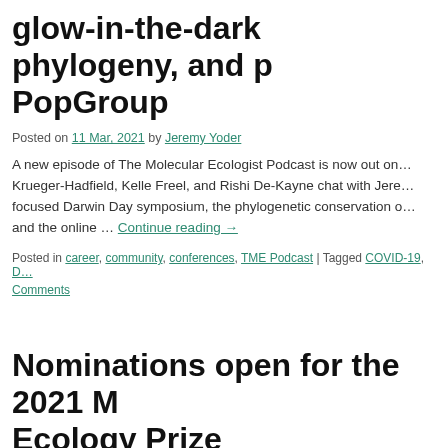glow-in-the-dark phylogeny, and p… PopGroup
Posted on 11 Mar, 2021 by Jeremy Yoder
A new episode of The Molecular Ecologist Podcast is now out on … Krueger-Hadfield, Kelle Freel, and Rishi De-Kayne chat with Jere… focused Darwin Day symposium, the phylogenetic conservation o… and the online … Continue reading →
Posted in career, community, conferences, TME Podcast | Tagged COVID-19, D…
Comments
Nominations open for the 2021 M… Ecology Prize
Posted on 10 Mar, 2021 by Jeremy Yoder
From the Molecular Ecology Prize Committee: We are soliciting n…